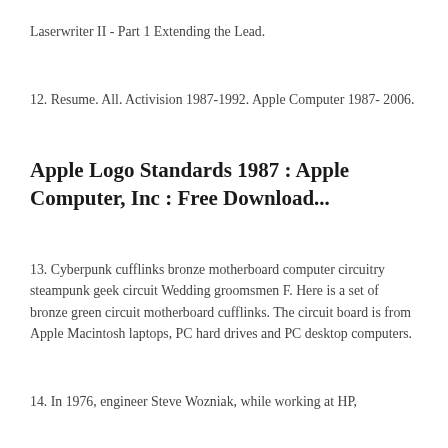Laserwriter II - Part 1 Extending the Lead.
12. Resume. All. Activision 1987-1992. Apple Computer 1987- 2006.
Apple Logo Standards 1987 : Apple Computer, Inc : Free Download...
13. Cyberpunk cufflinks bronze motherboard computer circuitry steampunk geek circuit Wedding groomsmen F. Here is a set of bronze green circuit motherboard cufflinks. The circuit board is from Apple Macintosh laptops, PC hard drives and PC desktop computers.
14. In 1976, engineer Steve Wozniak, while working at HP,